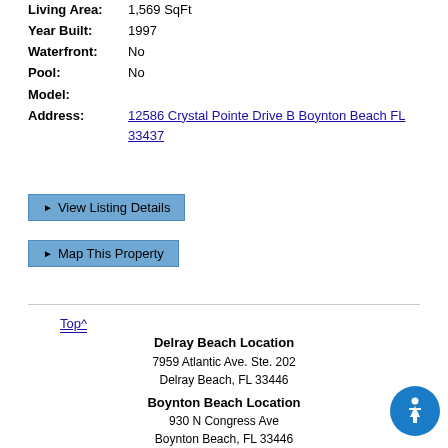Living Area: 1,569 SqFt
Year Built: 1997
Waterfront: No
Pool: No
Model:
Address: 12586 Crystal Pointe Drive B Boynton Beach FL 33437
► View Listing Details
► Map This Property
Top^
Jeffrey J. Katz
(561) 496-2000
[Figure (logo): RE/MAX Direct logo with red RE/MAX text and italic Direct script below]
Each office independently owned & operated
Delray Beach Location
7959 Atlantic Ave. Ste. 202
Delray Beach, FL 33446
Boynton Beach Location
930 N Congress Ave
Boynton Beach, FL 33446